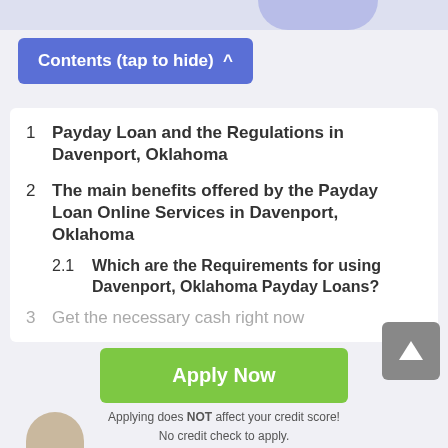Contents (tap to hide) ^
1  Payday Loan and the Regulations in Davenport, Oklahoma
2  The main benefits offered by the Payday Loan Online Services in Davenport, Oklahoma
2.1  Which are the Requirements for using Davenport, Oklahoma Payday Loans?
3  Get the necessary cash right now
Apply Now
Applying does NOT affect your credit score!
No credit check to apply.